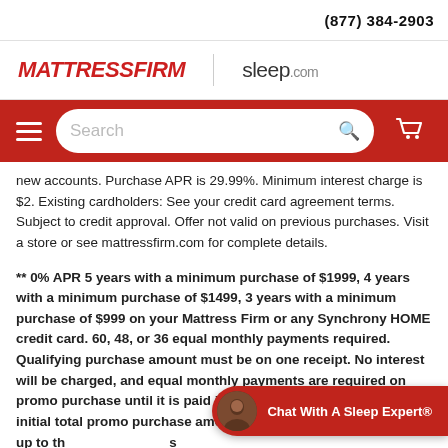(877) 384-2903
[Figure (logo): MattressFirm logo (red italic bold text) and sleep.com logo side by side with a vertical divider]
[Figure (screenshot): Red navigation bar with hamburger menu, search box with Search placeholder and magnifying glass icon, and shopping cart icon]
new accounts. Purchase APR is 29.99%. Minimum interest charge is $2. Existing cardholders: See your credit card agreement terms. Subject to credit approval. Offer not valid on previous purchases. Visit a store or see mattressfirm.com for complete details.
** 0% APR 5 years with a minimum purchase of $1999, 4 years with a minimum purchase of $1499, 3 years with a minimum purchase of $999 on your Mattress Firm or any Synchrony HOME credit card. 60, 48, or 36 equal monthly payments required. Qualifying purchase amount must be on one receipt. No interest will be charged, and equal monthly payments are required on promo purchase until it is paid in full. The payments equal the initial total promo purchase amo in the promo period, rounded up to th s
[Figure (other): Chat With A Sleep Expert® chat widget button (red pill-shaped button with avatar and text)]